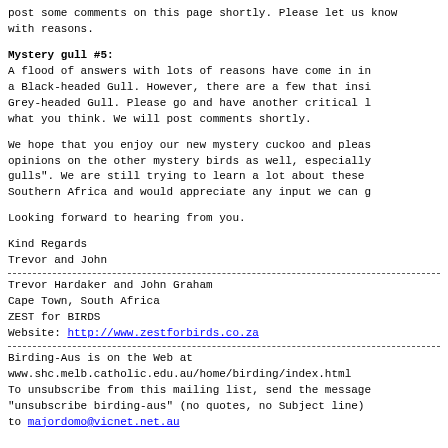post some comments on this page shortly. Please let us know with reasons.
Mystery gull #5:
A flood of answers with lots of reasons have come in in a Black-headed Gull. However, there are a few that insist Grey-headed Gull. Please go and have another critical look what you think. We will post comments shortly.
We hope that you enjoy our new mystery cuckoo and please opinions on the other mystery birds as well, especially gulls". We are still trying to learn a lot about these Southern Africa and would appreciate any input we can get.
Looking forward to hearing from you.
Kind Regards
Trevor and John
Trevor Hardaker and John Graham
Cape Town, South Africa
ZEST for BIRDS
Website: http://www.zestforbirds.co.za
Birding-Aus is on the Web at
www.shc.melb.catholic.edu.au/home/birding/index.html
To unsubscribe from this mailing list, send the message "unsubscribe birding-aus" (no quotes, no Subject line) to majordomo@vicnet.net.au